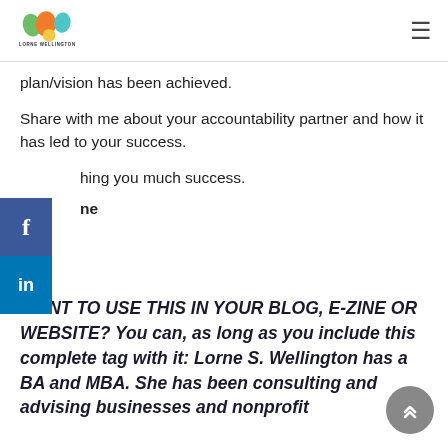[Figure (logo): Lorne Wellington colorful Africa map logo with text 'LORNE WELLINGTON']
plan/vision has been achieved.
Share with me about your accountability partner and how it has led to your success.
Wishing you much success.
ne
WANT TO USE THIS IN YOUR BLOG, E-ZINE OR WEBSITE? You can, as long as you include this complete tag with it: Lorne S. Wellington has a BA and MBA. She has been consulting and advising businesses and nonprofit